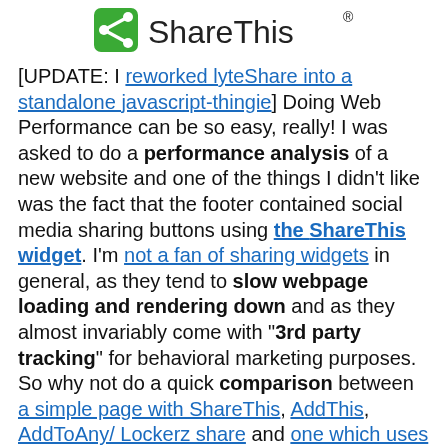[Figure (logo): ShareThis logo: green square icon with white share symbol followed by 'ShareThis' text in dark color with a registered trademark symbol]
[UPDATE: I reworked lyteShare into a standalone javascript-thingie] Doing Web Performance can be so easy, really! I was asked to do a performance analysis of a new website and one of the things I didn't like was the fact that the footer contained social media sharing buttons using the ShareThis widget. I'm not a fan of sharing widgets in general, as they tend to slow webpage loading and rendering down and as they almost invariably come with "3rd party tracking" for behavioral marketing purposes.
So why not do a quick comparison between a simple page with ShareThis, AddThis, AddToAny/ Lockerz share and one which uses